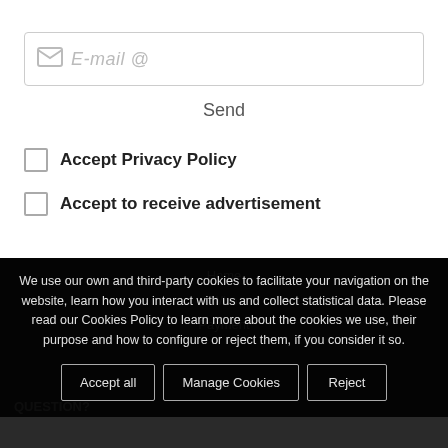E-mail @
Send
Accept Privacy Policy
Accept to receive advertisement
Home
Who
Payment
QUESTION?
We use our own and third-party cookies to facilitate your navigation on the website, learn how you interact with us and collect statistical data. Please read our Cookies Policy to learn more about the cookies we use, their purpose and how to configure or reject them, if you consider it so.
Accept all
Manage Cookies
Reject